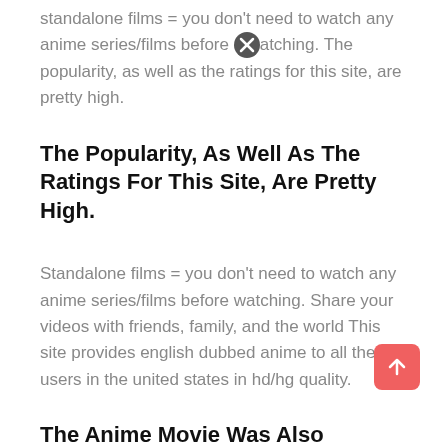standalone films = you don't need to watch any anime series/films before watching. The popularity, as well as the ratings for this site, are pretty high.
The Popularity, As Well As The Ratings For This Site, Are Pretty High.
Standalone films = you don't need to watch any anime series/films before watching. Share your videos with friends, family, and the world This site provides english dubbed anime to all the users in the united states in hd/hg quality.
The Anime Movie Was Also Featured At The Cannes Film Festival In July 2021.
Unable to hear, speak, or wield a sword, prince bo doesn't seem like a typical heir to the throne—and his kingdom agrees. Unable to hear, speak, or wield a sword, prince boiii doesn't seem like a typical heir to